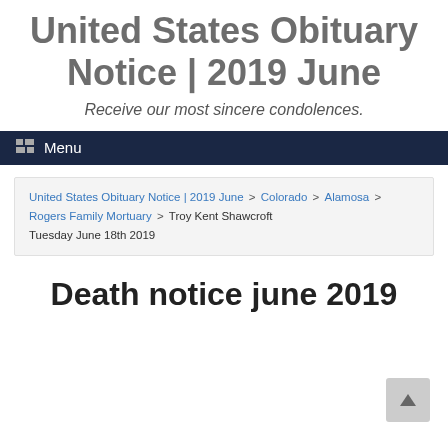United States Obituary Notice | 2019 June
Receive our most sincere condolences.
Menu
United States Obituary Notice | 2019 June > Colorado > Alamosa > Rogers Family Mortuary > Troy Kent Shawcroft Tuesday June 18th 2019
Death notice june 2019